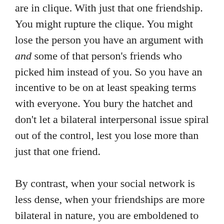are in clique. With just that one friendship. You might rupture the clique. You might lose the person you have an argument with and some of that person's friends who picked him instead of you. So you have an incentive to be on at least speaking terms with everyone. You bury the hatchet and don't let a bilateral interpersonal issue spiral out of the control, lest you lose more than just that one friend.

By contrast, when your social network is less dense, when your friendships are more bilateral in nature, you are emboldened to end things with a friend who pisses you off as you rightfully believe that it won't have a ripple effect in your